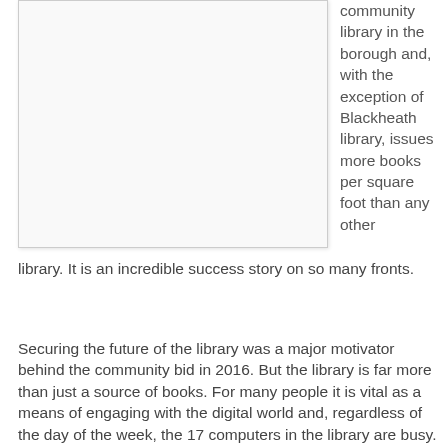[Figure (photo): A photograph or image placeholder occupying the upper left area of the page]
community library in the borough and, with the exception of Blackheath library, issues more books per square foot than any other library. It is an incredible success story on so many fronts.
Securing the future of the library was a major motivator behind the community bid in 2016. But the library is far more than just a source of books. For many people it is vital as a means of engaging with the digital world and, regardless of the day of the week, the 17 computers in the library are busy. Activities for under-5s run every Tuesday morning and Thursday afternoon (never have I seen so many buggies in one place!); Origami classes take place on Saturdays; a reading group meets once a month; and the library arranges speakers for the Lively Minds Group on the first Monday of each month.